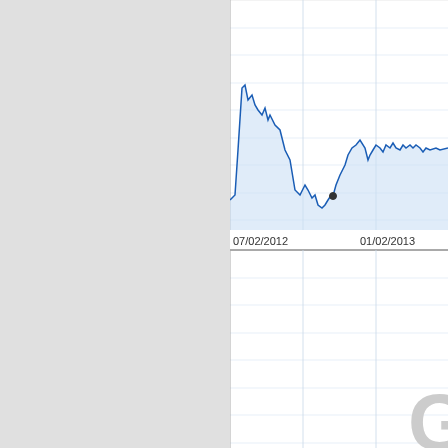[Figure (continuous-plot): Top financial time series line chart showing a stock/asset price from approximately 07/02/2012 to 01/02/2013. The line starts high (spike around mid-chart left), then drops, then recovers partially toward the right. The area beneath the line is shaded light blue. A small dot marker is visible around late 2012.]
[Figure (continuous-plot): Middle chart panel: empty grid with horizontal light blue/grey lines, vertical grey dividers. Google logo (G) watermark is partially visible at bottom right.]
[Figure (continuous-plot): Bottom financial time series line chart (partially visible) showing a volatile blue line with irregular peaks and troughs across the same date range.]